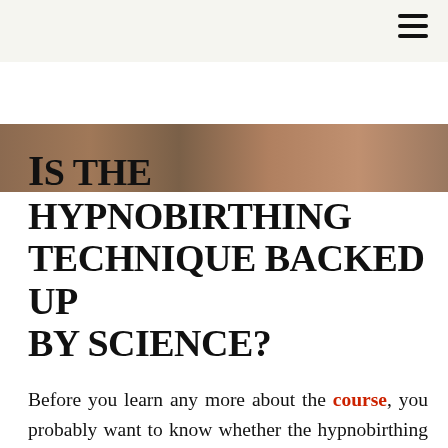≡
[Figure (photo): Partial photo of a person, brownish/warm tones, cropped at top of page]
Is the hypnobirthing technique backed up by science?
Before you learn any more about the course, you probably want to know whether the hypnobirthing technique is substantial and backed by science. Well, it turns out that's not a simple question to answer.
Like so many things involving mental preparation and...